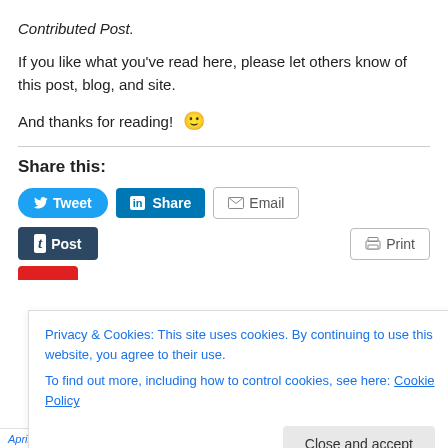Contributed Post.
If you like what you've read here, please let others know of this post, blog, and site.
And thanks for reading! 🙂
Share this:
[Figure (screenshot): Social sharing buttons row: Tweet (blue rounded), Share on LinkedIn (blue), Email (outlined). Second row: Post on Tumblr (dark navy), Print (outlined).]
Privacy & Cookies: This site uses cookies. By continuing to use this website, you agree to their use. To find out more, including how to control cookies, see here: Cookie Policy
April 5, 2022 · 1 Reply